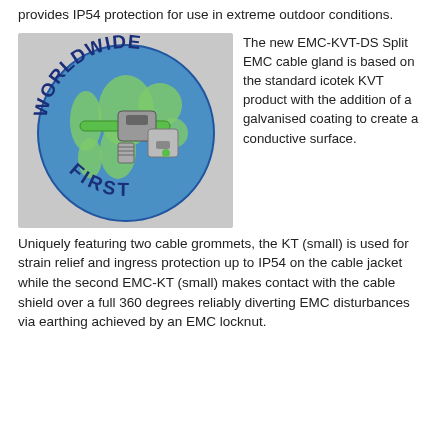provides IP54 protection for use in extreme outdoor conditions.
[Figure (illustration): Globe graphic with 'WORLDWIDE FIRST' text arched around it, with an image of the EMC-KVT-DS Split EMC cable gland overlaid on the globe.]
The new EMC-KVT-DS Split EMC cable gland is based on the standard icotek KVT product with the addition of a galvanised coating to create a conductive surface. Uniquely featuring two cable grommets, the KT (small) is used for strain relief and ingress protection up to IP54 on the cable jacket while the second EMC-KT (small) makes contact with the cable shield over a full 360 degrees reliably diverting EMC disturbances via earthing achieved by an EMC locknut.